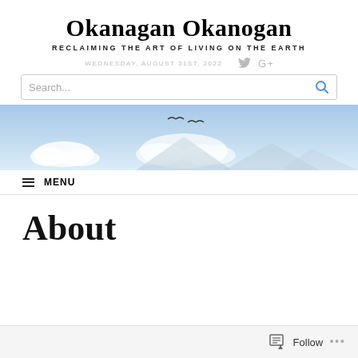Okanagan Okanogan
RECLAIMING THE ART OF LIVING ON THE EARTH
WEDNESDAY, AUGUST 31ST, 2022
Search...
[Figure (photo): Wide landscape photo showing birds flying over a sky with clouds and mountains below]
≡  MENU
About
Follow